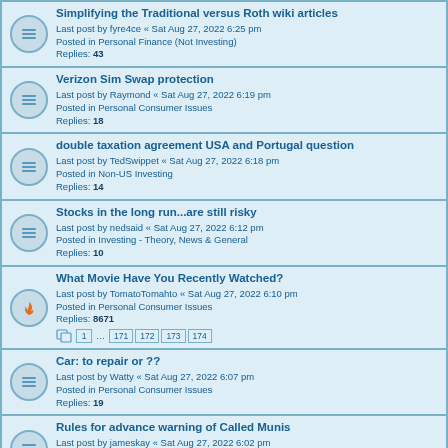Simplifying the Traditional versus Roth wiki articles
Last post by fyre4ce « Sat Aug 27, 2022 6:25 pm
Posted in Personal Finance (Not Investing)
Replies: 43
Verizon Sim Swap protection
Last post by Raymond « Sat Aug 27, 2022 6:19 pm
Posted in Personal Consumer Issues
Replies: 18
double taxation agreement USA and Portugal question
Last post by TedSwippet « Sat Aug 27, 2022 6:18 pm
Posted in Non-US Investing
Replies: 14
Stocks in the long run...are still risky
Last post by nedsaid « Sat Aug 27, 2022 6:12 pm
Posted in Investing - Theory, News & General
Replies: 10
What Movie Have You Recently Watched?
Last post by TomatoTomahto « Sat Aug 27, 2022 6:10 pm
Posted in Personal Consumer Issues
Replies: 8671
Pages: 1 ... 171 172 173 174
Car: to repair or ??
Last post by Watty « Sat Aug 27, 2022 6:07 pm
Posted in Personal Consumer Issues
Replies: 19
Rules for advance warning of Called Munis
Last post by jameskay « Sat Aug 27, 2022 6:02 pm
Posted in Personal Investments
Replies: 2
Smartwatches for seniors to Detect Falls